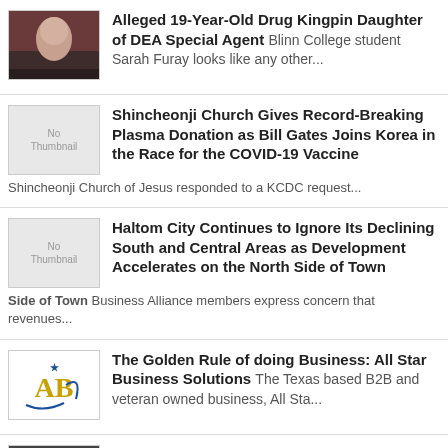Alleged 19-Year-Old Drug Kingpin Daughter of DEA Special Agent Blinn College student Sarah Furay looks like any other...
Shincheonji Church Gives Record-Breaking Plasma Donation as Bill Gates Joins Korea in the Race for the COVID-19 Vaccine Shincheonji Church of Jesus responded to a KCDC request...
Haltom City Continues to Ignore Its Declining South and Central Areas as Development Accelerates on the North Side of Town Business Alliance members express concern that revenues...
The Golden Rule of doing Business: All Star Business Solutions The Texas based B2B and veteran owned business, All Sta...
Portia Hoover is Making International Moves Portia Hoover has been making moves and leaving her mar...